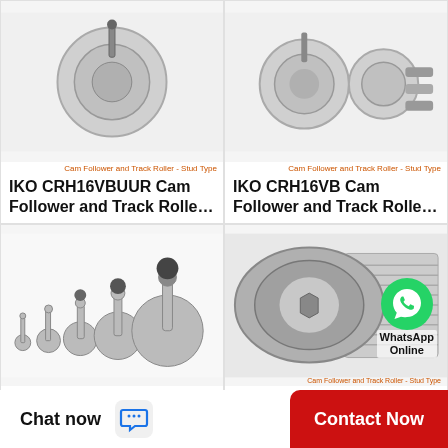[Figure (photo): IKO CRH16VBUUR Cam Follower and Track Roller - Stud Type product photo]
Cam Follower and Track Roller - Stud Type
IKO CRH16VBUUR Cam Follower and Track Rolle…
[Figure (photo): IKO CRH16VB Cam Follower and Track Roller - Stud Type product photo]
Cam Follower and Track Roller - Stud Type
IKO CRH16VB Cam Follower and Track Rolle…
[Figure (photo): IKO CR28B Cam Follower and Track Roller - Stud Type product photo showing multiple sized stud type cam followers]
Cam Follower and Track Roller - Stud Type
IKO CR28B Cam Follower and Track Roller - Stud…
[Figure (photo): IKO CR26VUUR Cam Follower and Track Roller - Stud Type with WhatsApp Online overlay]
Cam Follower and Track Roller - Stud Type
IKO CR26VUUR Cam Follower and Track Rolle…
Chat now
Contact Now